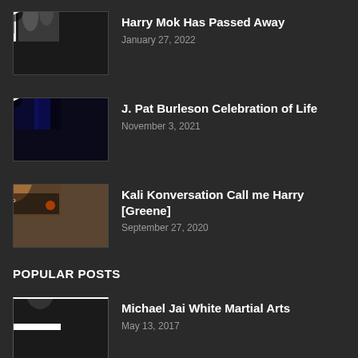[Figure (screenshot): Video thumbnail for Harry Mok Has Passed Away - dark background with social media post and persons]
Harry Mok Has Passed Away
January 27, 2022
[Figure (screenshot): Video thumbnail for J. Pat Burleson Celebration of Life - dark blue concert/event photo]
J. Pat Burleson Celebration of Life
November 3, 2021
[Figure (screenshot): Video thumbnail for Kali Konversation Call me Harry Greene - album cover style with woman and text The Bladed Mind System]
Kali Konversation Call me Harry [Greene]
September 27, 2020
POPULAR POSTS
[Figure (screenshot): Video thumbnail for Michael Jai White Martial Arts - Martial Arts Tips text with person on dark background]
Michael Jai White Martial Arts
May 13, 2017